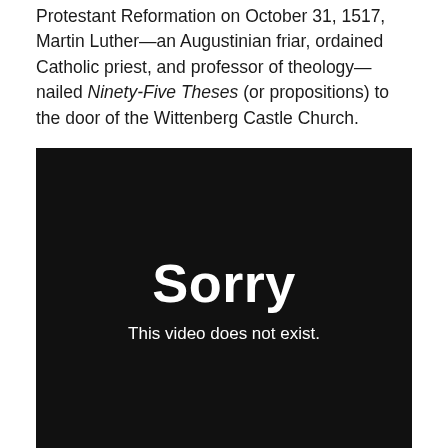Protestant Reformation on October 31, 1517, Martin Luther—an Augustinian friar, ordained Catholic priest, and professor of theology—nailed Ninety-Five Theses (or propositions) to the door of the Wittenberg Castle Church.
[Figure (other): A black video player screen showing the error message 'Sorry' in large white bold text and 'This video does not exist.' in smaller white text below it.]